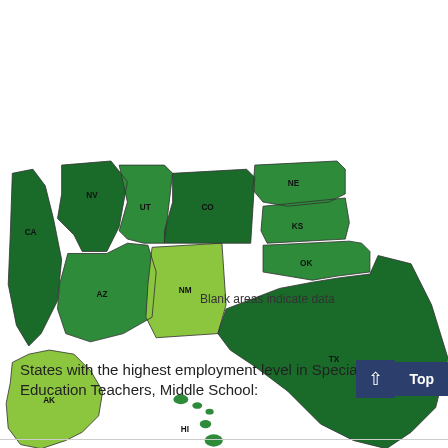[Figure (map): Choropleth map of western US states showing employment levels in Special Education Teachers, Middle School. States shown include CA, NV, UT, AZ, CO, NM, NE, KS, OK, TX, AK, HI. Color shading from light green (lower) to dark green (higher) indicates employment level. NM and AK are lightest green; TX, CO, CA are darkest green.]
Blank areas indicate data
States with the highest employment level in Special Education Teachers, Middle School: